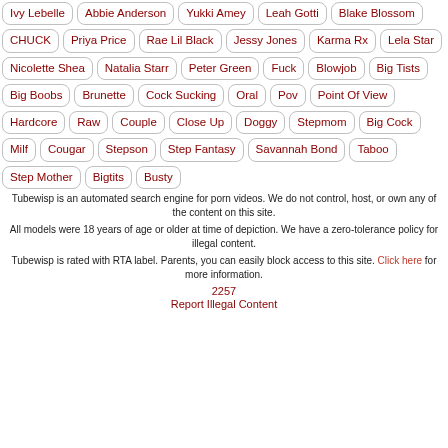Ivy Lebelle
Abbie Anderson
Yukki Amey
Leah Gotti
Blake Blossom
CHUCK
Priya Price
Rae Lil Black
Jessy Jones
Karma Rx
Lela Star
Nicolette Shea
Natalia Starr
Peter Green
Fuck
Blowjob
Big Tists
Big Boobs
Brunette
Cock Sucking
Oral
Pov
Point Of View
Hardcore
Raw
Couple
Close Up
Doggy
Stepmom
Big Cock
Milf
Cougar
Stepson
Step Fantasy
Savannah Bond
Taboo
Step Mother
Bigtits
Busty
Tubewisp is an automated search engine for porn videos. We do not control, host, or own any of the content on this site.
All models were 18 years of age or older at time of depiction. We have a zero-tolerance policy for illegal content.
Tubewisp is rated with RTA label. Parents, you can easily block access to this site. Click here for more information.
2257
Report Illegal Content